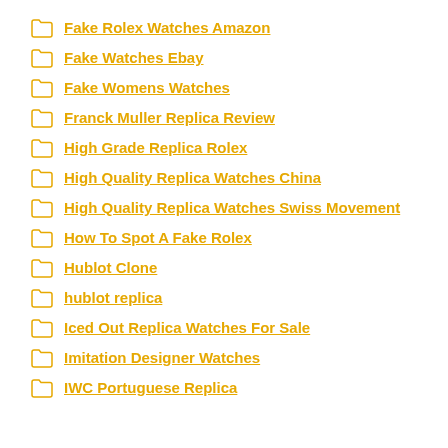Fake Rolex Watches Amazon
Fake Watches Ebay
Fake Womens Watches
Franck Muller Replica Review
High Grade Replica Rolex
High Quality Replica Watches China
High Quality Replica Watches Swiss Movement
How To Spot A Fake Rolex
Hublot Clone
hublot replica
Iced Out Replica Watches For Sale
Imitation Designer Watches
IWC Portuguese Replica